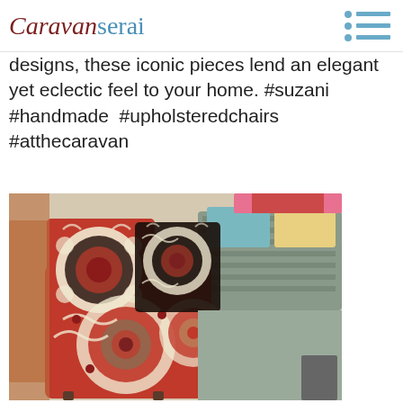Caravanserai
designs, these iconic pieces lend an elegant yet eclectic feel to your home. #suzani #handmade #upholsteredchairs #atthecaravan
[Figure (photo): A suzani-upholstered highback armchair with bold circular medallion patterns in red, cream, and dark brown/black tones. In the background are more textiles and furniture in a shop setting.]